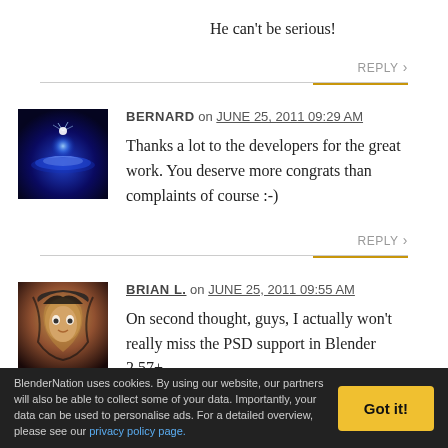He can't be serious!
REPLY
[Figure (photo): Avatar of user Bernard: glowing blue magical fantasy scene with starlight]
BERNARD on JUNE 25, 2011 09:29 AM
Thanks a lot to the developers for the great work. You deserve more congrats than complaints of course :-)
REPLY
[Figure (photo): Avatar of user Brian L.: anime-style character with dark hair]
BRIAN L. on JUNE 25, 2011 09:55 AM
On second thought, guys, I actually won't really miss the PSD support in Blender 2.57+.
BlenderNation uses cookies. By using our website, our partners will also be able to collect some of your data. Importantly, your data can be used to personalise ads. For a detailed overview, please see our privacy policy page.